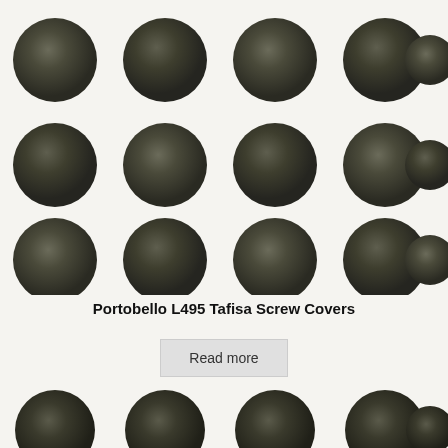[Figure (photo): Grid of dark olive/gray circular screw cover caps arranged in 4 rows of 5 columns against a light cream background]
Portobello L495 Tafisa Screw Covers
Read more
[Figure (photo): Partial row of dark circular screw cover caps at the bottom of the page]